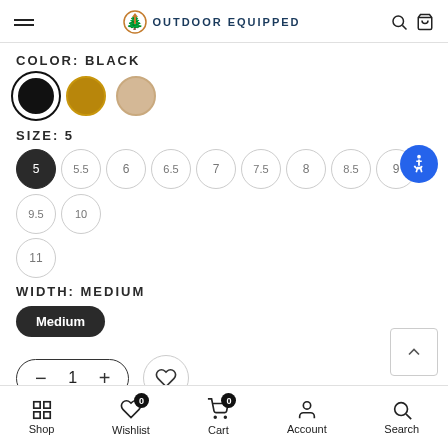OUTDOOR EQUIPPED
COLOR: BLACK
[Figure (illustration): Three color swatch circles: black (selected, with outline ring), olive/dark yellow, and tan/beige]
SIZE: 5
[Figure (illustration): Size selector circles: 5 (selected/filled), 5.5, 6, 6.5, 7, 7.5, 8, 8.5, 9, 9.5, 10, 11]
WIDTH: MEDIUM
[Figure (illustration): Width selector: Medium pill button (dark/selected)]
[Figure (illustration): Quantity stepper (minus, 1, plus) and wishlist heart button]
Shop  Wishlist 0  Cart 0  Account  Search